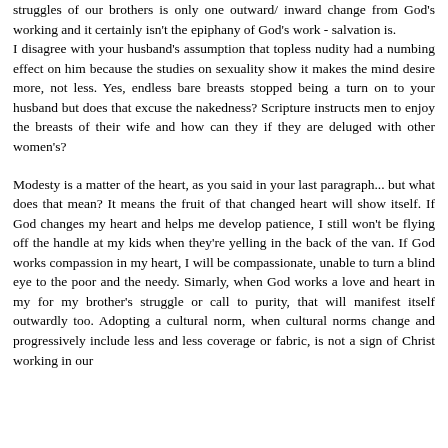struggles of our brothers is only one outward/ inward change from God's working and it certainly isn't the epiphany of God's work - salvation is. I disagree with your husband's assumption that topless nudity had a numbing effect on him because the studies on sexuality show it makes the mind desire more, not less. Yes, endless bare breasts stopped being a turn on to your husband but does that excuse the nakedness? Scripture instructs men to enjoy the breasts of their wife and how can they if they are deluged with other women's?
Modesty is a matter of the heart, as you said in your last paragraph... but what does that mean? It means the fruit of that changed heart will show itself. If God changes my heart and helps me develop patience, I still won't be flying off the handle at my kids when they're yelling in the back of the van. If God works compassion in my heart, I will be compassionate, unable to turn a blind eye to the poor and the needy. Simarly, when God works a love and heart in my for my brother's struggle or call to purity, that will manifest itself outwardly too. Adopting a cultural norm, when cultural norms change and progressively include less and less coverage or fabric, is not a sign of Christ working in our